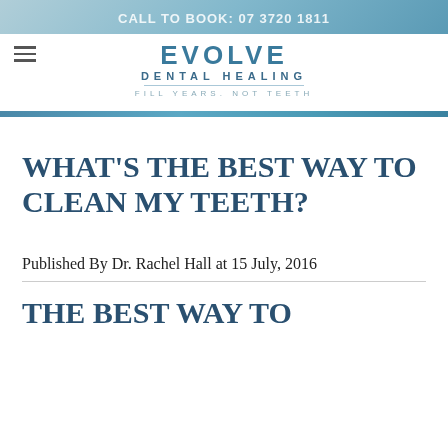CALL TO BOOK: 07 3720 1811
[Figure (logo): Evolve Dental Healing logo with tagline FILL YEARS. NOT TEETH]
WHAT'S THE BEST WAY TO CLEAN MY TEETH?
Published By Dr. Rachel Hall at 15 July, 2016
THE BEST WAY TO